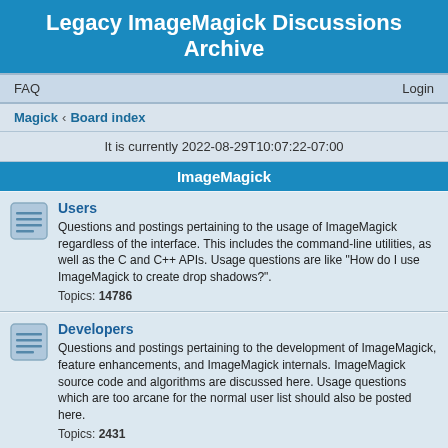Legacy ImageMagick Discussions Archive
FAQ    Login
Magick · Board index
It is currently 2022-08-29T10:07:22-07:00
ImageMagick
Users
Questions and postings pertaining to the usage of ImageMagick regardless of the interface. This includes the command-line utilities, as well as the C and C++ APIs. Usage questions are like "How do I use ImageMagick to create drop shadows?". Topics: 14786
Developers
Questions and postings pertaining to the development of ImageMagick, feature enhancements, and ImageMagick internals. ImageMagick source code and algorithms are discussed here. Usage questions which are too arcane for the normal user list should also be posted here. Topics: 2431
Bugs
Post any defects you find in the released or beta versions of the ImageMagick software here. Include the ImageMagick version, OS, and any command-line required to reproduce the problem. Got a patch for a bug? Post it here. Topics: 4991
Consulting
Do you need consulting from ImageMagick experts and are willing to pay for it?